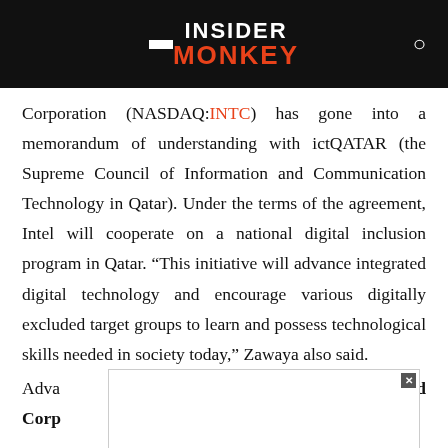Insider Monkey
Corporation (NASDAQ:INTC) has gone into a memorandum of understanding with ictQATAR (the Supreme Council of Information and Communication Technology in Qatar). Under the terms of the agreement, Intel will cooperate on a national digital inclusion program in Qatar. “This initiative will advance integrated digital technology and encourage various digitally excluded target groups to learn and possess technological skills needed in society today,” Zawaya also said.
Adva… Gold Corp… the